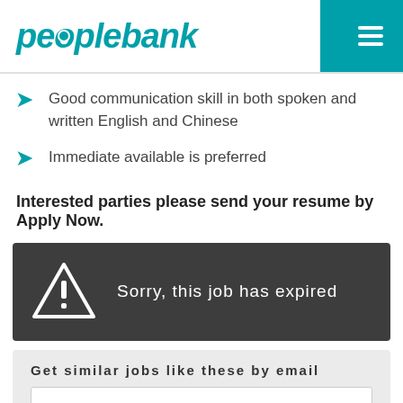peoplebank
Good communication skill in both spoken and written English and Chinese
Immediate available is preferred
Interested parties please send your resume by Apply Now.
[Figure (infographic): Warning banner with triangle exclamation icon and text: Sorry, this job has expired]
Get similar jobs like these by email